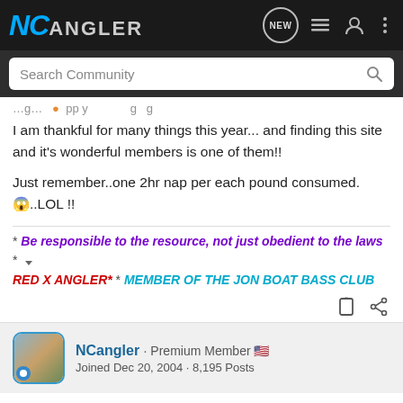NCangler — navigation bar with logo, NEW bubble, list icon, user icon, more icon
Search Community
I am thankful for many things this year... and finding this site and it's wonderful members is one of them!!

Just remember..one 2hr nap per each pound consumed.😱..LOL !!
* Be responsible to the resource, not just obedient to the laws * RED X ANGLER* * MEMBER OF THE JON BOAT BASS CLUB
NCangler · Premium Member 🇺🇸
Joined Dec 20, 2004 · 8,195 Posts